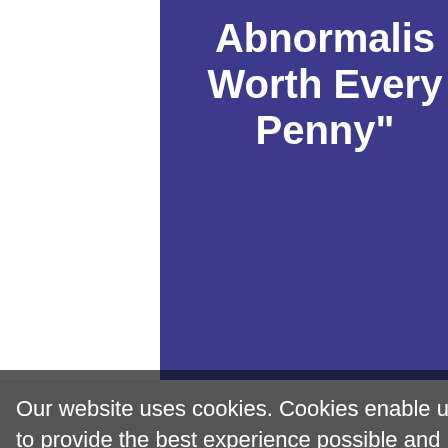Abnormalis Worth Every Penny"
[Figure (logo): Gartner Peer Insights logo in teal and gray on dark navy background]
Our website uses cookies. Cookies enable us to provide the best experience possible and help us understand how visitors use our website. By browsing databreachtoday.com, you agree to our use of cookies.
LATEST TWEETS AND MENTIONS